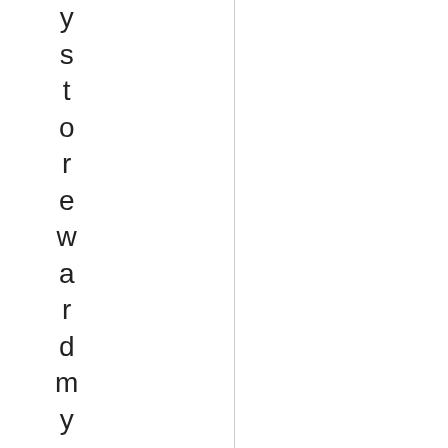ystorerewardmyself. Youworkedouta